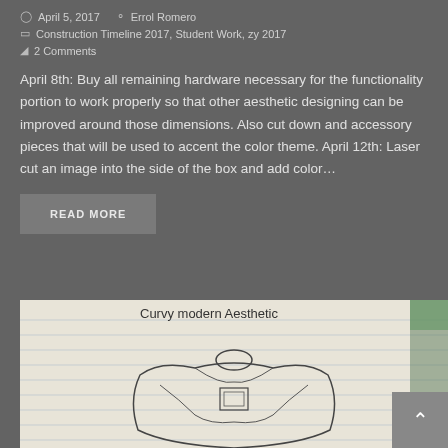April 5, 2017   Errol Romero
Construction Timeline 2017, Student Work, zy 2017
2 Comments
April 8th: Buy all remaining hardware necessary for the functionality portion to work properly so that other aesthetic designing can be improved around those dimensions. Also cut down and accessory pieces that will be used to accent the color theme. April 12th: Laser cut an image into the side of the box and add color…
READ MORE
[Figure (illustration): Hand-drawn sketch on lined paper labeled 'Curvy modern Aesthetic' showing a stylized figure or object design from a top-down view]